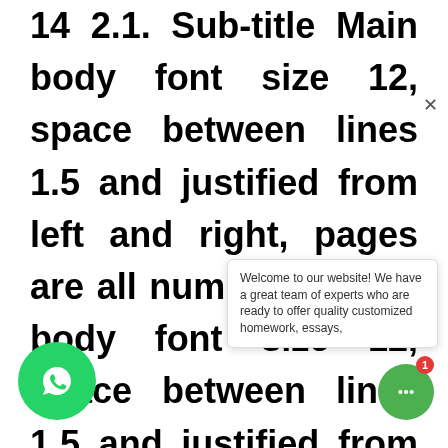14 2.1. Sub-title Main body font size 12, space between lines 1.5 and justified from left and right, pages are all numbered Main body font size 12, space between lines 1.5 and justified from left and right, pages are all numbered Main body font size 12, space between lines 1.5 and justified from left and right, pages are all numbered Main body font size 12, space between lines 1.5 and justified from left and right, pages are all numbered Main body font size 12, space between lines 1.5 and justified from left and right, pages are all numbered 2.2. Sub-title Main body font size 12, space between lines 1.5
[Figure (other): WhatsApp floating contact button (green circle with WhatsApp logo) at bottom left]
[Figure (other): Chat popup overlay: 'Welcome to our website! We have a great team of experts who are ready to offer quality customized homework, essays,' with a close (x) button]
[Figure (other): Green chat button with notification badge showing '1' at bottom right]